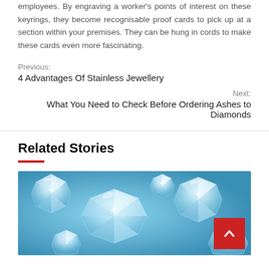employees. By engraving a worker's points of interest on these keyrings, they become recognisable proof cards to pick up at a section within your premises. They can be hung in cords to make these cards even more fascinating.
Previous:
4 Advantages Of Stainless Jewellery
Next:
What You Need to Check Before Ordering Ashes to Diamonds
Related Stories
[Figure (photo): Photo of multiple sparkling diamonds scattered on a blue background]